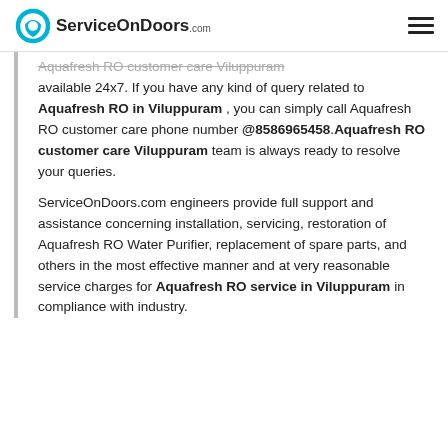ServiceOnDoors.com
Aquafresh RO customer care Viluppuram available 24x7. If you have any kind of query related to Aquafresh RO in Viluppuram , you can simply call Aquafresh RO customer care phone number @8586965458.Aquafresh RO customer care Viluppuram team is always ready to resolve your queries.
ServiceOnDoors.com engineers provide full support and assistance concerning installation, servicing, restoration of Aquafresh RO Water Purifier, replacement of spare parts, and others in the most effective manner and at very reasonable service charges for Aquafresh RO service in Viluppuram in compliance with industry.